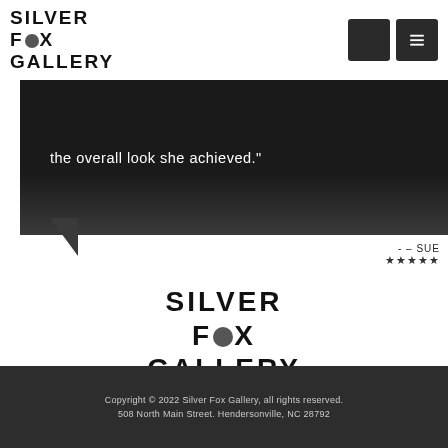[Figure (logo): Silver Fox Gallery logo top-left with fox icon in the O]
[Figure (other): Navigation buttons: plus icon and list/menu icon]
the overall look she achieved."
- – SUE
★★★★★
[Figure (logo): Silver Fox Gallery logo centered in page body]
Copyright © 2022 Silver Fox Gallery, all rights reserved.
508 North Main Street.  Hendersonville, NC 28792